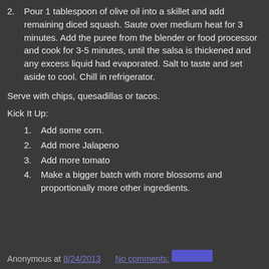2. Pour 1 tablespoon of olive oil into a skillet and add remaining diced squash. Saute over medium heat for 3 minutes. Add the puree from the blender or food processor and cook for 3-5 minutes, until the salsa is thickened and any excess liquid had evaporated. Salt to taste and set aside to cool. Chill in refrigerator.
Serve with chips, quesadillas or tacos.
Kick It Up:
1. Add some corn.
2. Add more Jalapeno
3. Add more tomato
4. Make a bigger batch with more blossoms and proportionally more other ingredients.
Anonymous at 8/24/2013   No comments: